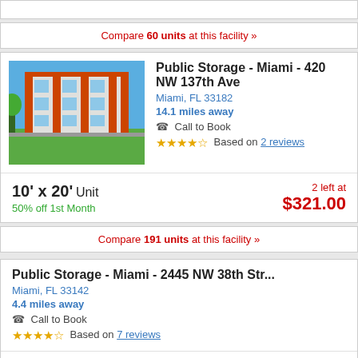Compare 60 units at this facility »
[Figure (photo): Public Storage building exterior - orange and white multi-story building with green lawn]
Public Storage - Miami - 420 NW 137th Ave
Miami, FL 33182
14.1 miles away
Call to Book
Based on 2 reviews
10' x 20' Unit
50% off 1st Month
2 left at $321.00
Compare 191 units at this facility »
Public Storage - Miami - 2445 NW 38th Str...
Miami, FL 33142
4.4 miles away
Call to Book
Based on 7 reviews
10' x 20' Unit
$1 first month rent
$482.00